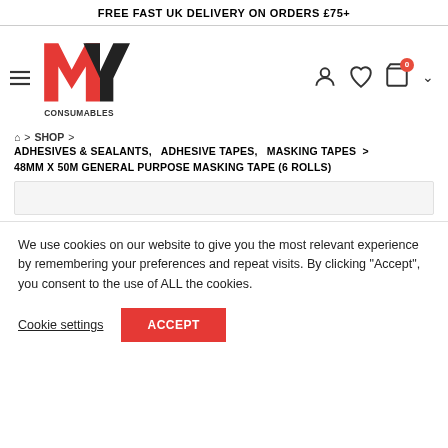FREE FAST UK DELIVERY ON ORDERS £75+
[Figure (logo): MY Consumables logo with red M and black Y letters, CONSUMABLES text below]
⌂ > SHOP > ADHESIVES & SEALANTS, ADHESIVE TAPES, MASKING TAPES > 48MM X 50M GENERAL PURPOSE MASKING TAPE (6 ROLLS)
We use cookies on our website to give you the most relevant experience by remembering your preferences and repeat visits. By clicking "Accept", you consent to the use of ALL the cookies.
Cookie settings | ACCEPT